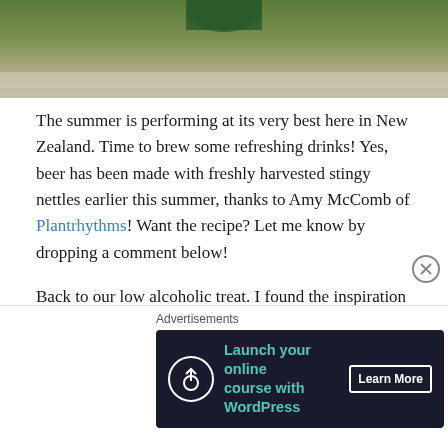[Figure (photo): Top portion of a photo showing a green bottle/jar on a light surface, partially cropped]
The summer is performing at its very best here in New Zealand. Time to brew some refreshing drinks! Yes, beer has been made with freshly harvested stingy nettles earlier this summer, thanks to Amy McComb of Plantrhythms! Want the recipe? Let me know by dropping a comment below!
Back to our low alcoholic treat. I found the inspiration for this one while listening to the audio version of Sandor Ellix Katz' book: The Art of Fermentation – driving my new pony home to Warkworth from Wellington. 11 hours of
Advertisements
[Figure (screenshot): Advertisement banner: dark navy background with tree/upload icon, teal text 'Launch your online course with WordPress', and 'Learn More' button]